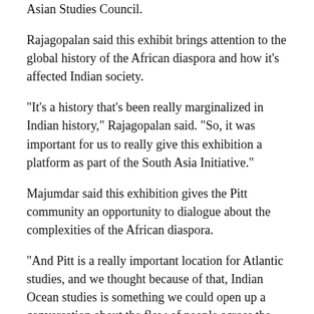Asian Studies Council.
Rajagopalan said this exhibit brings attention to the global history of the African diaspora and how it's affected Indian society.
“It’s a history that’s been really marginalized in Indian history,” Rajagopalan said. “So, it was important for us to really give this exhibition a platform as part of the South Asia Initiative.”
Majumdar said this exhibition gives the Pitt community an opportunity to dialogue about the complexities of the African diaspora.
“And Pitt is a really important location for Atlantic studies, and we thought because of that, Indian Ocean studies is something we could open up a conversation about the flow of people across the Indian Ocean,” Majumdar said. “And obviously, the African diaspora — usually people think about the Caribbean, the Americas and they don’t think about Asia as much.”